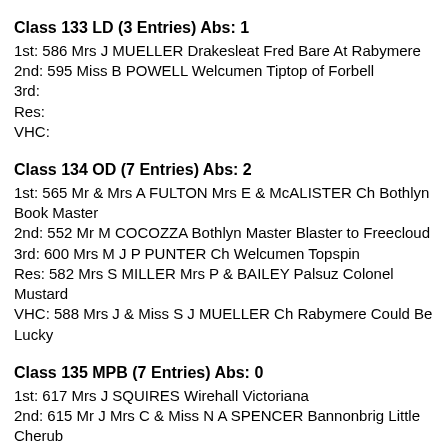Class 133 LD (3 Entries) Abs: 1
1st: 586 Mrs J MUELLER Drakesleat Fred Bare At Rabymere
2nd: 595 Miss B POWELL Welcumen Tiptop of Forbell
3rd:
Res:
VHC:
Class 134 OD (7 Entries) Abs: 2
1st: 565 Mr & Mrs A FULTON Mrs E & McALISTER Ch Bothlyn Book Master
2nd: 552 Mr M COCOZZA Bothlyn Master Blaster to Freecloud
3rd: 600 Mrs M J P PUNTER Ch Welcumen Topspin
Res: 582 Mrs S MILLER Mrs P & BAILEY Palsuz Colonel Mustard
VHC: 588 Mrs J & Miss S J MUELLER Ch Rabymere Could Be Lucky
Class 135 MPB (7 Entries) Abs: 0
1st: 617 Mrs J SQUIRES Wirehall Victoriana
2nd: 615 Mr J Mrs C & Miss N A SPENCER Bannonbrig Little Cherub
3rd: 561 Mrs L & Miss A FORREST Bothlyn Blue Mist over Morailmadadh
Res: 602 Mrs M J P PUNTER Welcumen Wednesday's Bonnet
VHC: 624 Mrs S YARD Welcumen Brassed Off